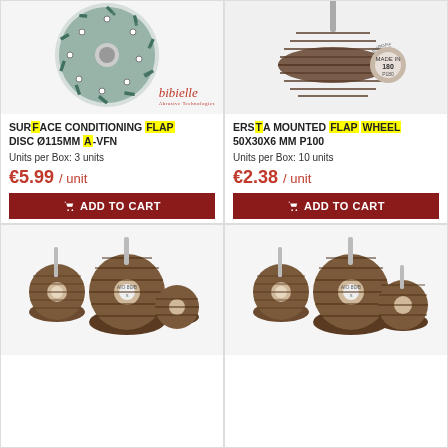[Figure (photo): Surface conditioning flap disc - green/teal colored disc with Bibielle logo]
SURFACE CONDITIONING FLAP DISC Ø115MM A-VFN
Units per Box: 3 units
€5.99 / unit
ADD TO CART
[Figure (photo): Ersta mounted flap wheel 50x30x6 mm - brown abrasive wheel with shank, labeled 180 grit, Made in Europe]
ERSTA MOUNTED FLAP WHEEL 50X30X6 MM P100
Units per Box: 10 units
€2.38 / unit
ADD TO CART
[Figure (photo): Multiple brown abrasive mounted flap wheels with shanks, various sizes]
[Figure (photo): Multiple brown abrasive mounted flap wheels with shanks, various sizes - second product]